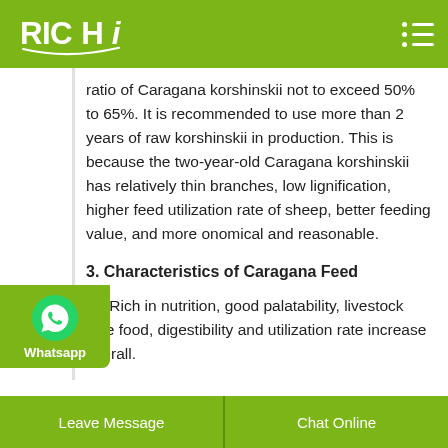RICHI
ratio of Caragana korshinskii not to exceed 50% to 65%. It is recommended to use more than 2 years of raw korshinskii in production. This is because the two-year-old Caragana korshinskii has relatively thin branches, low lignification, higher feed utilization rate of sheep, better feeding value, and more conomical and reasonable.
3. Characteristics of Caragana Feed
(1) Rich in nutrition, good palatability, livestock love food, digestibility and utilization rate increase overall.
Leave Message    Chat Online